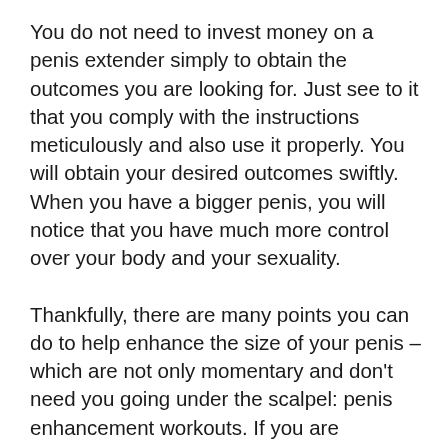You do not need to invest money on a penis extender simply to obtain the outcomes you are looking for. Just see to it that you comply with the instructions meticulously and also use it properly. You will obtain your desired outcomes swiftly. When you have a bigger penis, you will notice that you have much more control over your body and your sexuality.
Thankfully, there are many points you can do to help enhance the size of your penis – which are not only momentary and don't need you going under the scalpel: penis enhancement workouts. If you are genuinely thinking about expanding the size of your manhood, then you have possibly read about